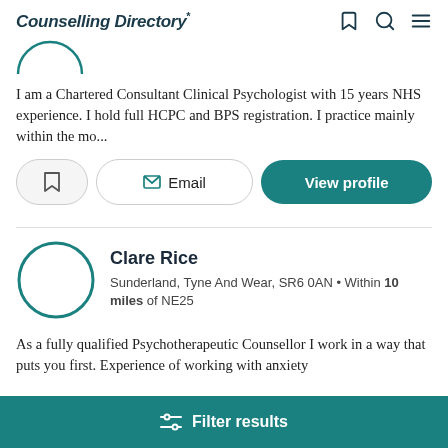Counselling Directory*
[Figure (illustration): Partial circular avatar image at top, cropped]
I am a Chartered Consultant Clinical Psychologist with 15 years NHS experience. I hold full HCPC and BPS registration. I practice mainly within the mo...
Email | View profile
Clare Rice
Sunderland, Tyne And Wear, SR6 0AN • Within 10 miles of NE25
As a fully qualified Psychotherapeutic Counsellor I work in a way that puts you first. Experience of working with anxiety
Filter results